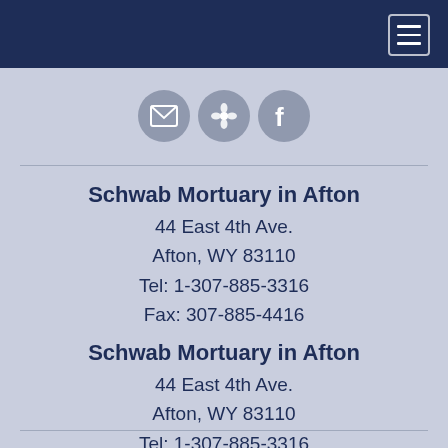[Figure (infographic): Three circular social/contact icons: envelope (email), flower/tribute icon, and Facebook logo]
Schwab Mortuary in Afton
44 East 4th Ave.
Afton, WY 83110
Tel: 1-307-885-3316
Fax: 307-885-4416
Schwab Mortuary in Afton
44 East 4th Ave.
Afton, WY 83110
Tel: 1-307-885-3316
Fax: 307-885-4416